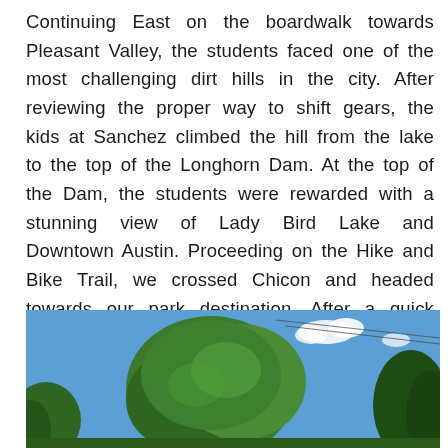Continuing East on the boardwalk towards Pleasant Valley, the students faced one of the most challenging dirt hills in the city. After reviewing the proper way to shift gears, the kids at Sanchez climbed the hill from the lake to the top of the Longhorn Dam. At the top of the Dam, the students were rewarded with a stunning view of Lady Bird Lake and Downtown Austin. Proceeding on the Hike and Bike Trail, we crossed Chicon and headed towards our park destination. After a quick water break, the students of Sanchez Elementary were so excited to hit the slides and swings at Edward Rendon Sr. Park!
[Figure (photo): Outdoor photo showing green trees against a blue sky with a few white clouds; power lines visible in the upper right area]